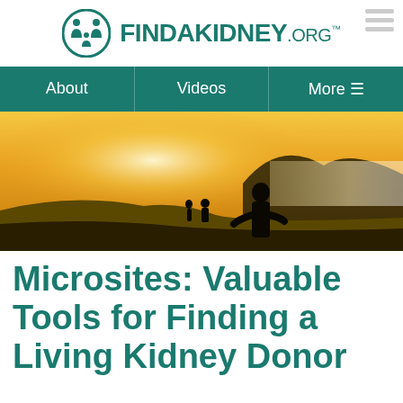[Figure (logo): FindAKidney.org logo with teal circle icon showing two figures and a child, next to bold teal text FINDAKIDNEY.ORG with TM mark]
About  Videos  More
[Figure (photo): Hero banner photo of three silhouetted people on a hillside at golden sunset with mountain and fog in the background]
Microsites: Valuable Tools for Finding a Living Kidney Donor